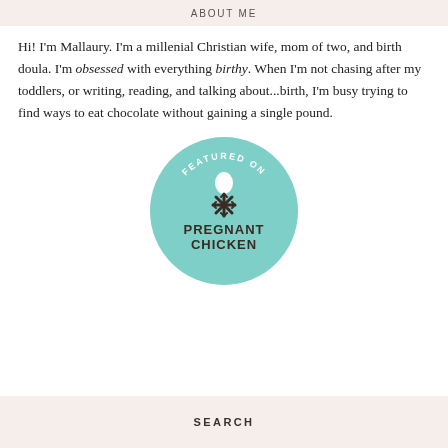ABOUT ME
Hi! I'm Mallaury. I'm a millenial Christian wife, mom of two, and birth doula. I'm obsessed with everything birthy. When I'm not chasing after my toddlers, or writing, reading, and talking about...birth, I'm busy trying to find ways to eat chocolate without gaining a single pound.
[Figure (logo): Circular teal badge reading 'FEATURED ON PREGNANT CHICKEN' with an egg and snowflake/asterisk icon in the center]
SEARCH